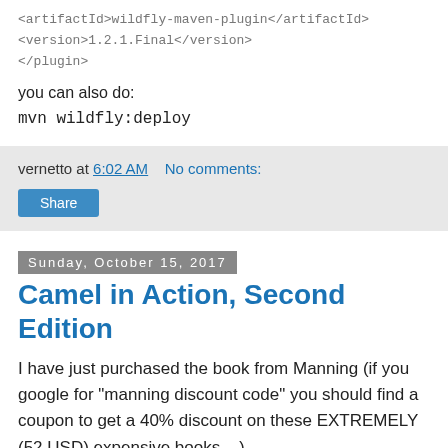<artifactId>wildfly-maven-plugin</artifactId>
<version>1.2.1.Final</version>
</plugin>
you can also do:
mvn wildfly:deploy
vernetto at 6:02 AM    No comments:
Share
Sunday, October 15, 2017
Camel in Action, Second Edition
I have just purchased the book from Manning (if you google for "manning discount code" you should find a coupon to get a 40% discount on these EXTREMELY (52 USD) expensive books ...)